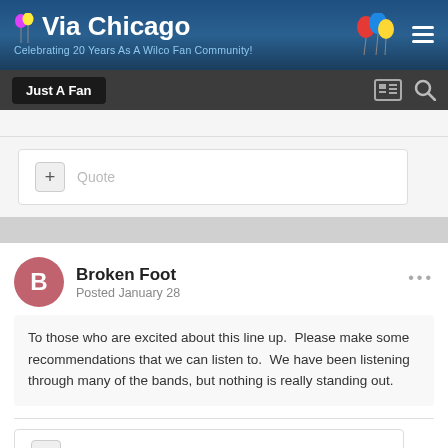Via Chicago — Celebrating 20 Years As A Wilco Fan Community!
Just A Fan
+ Quote
Broken Foot
Posted January 28
To those who are excited about this line up.  Please make some recommendations that we can listen to.  We have been listening through many of the bands, but nothing is really standing out.
+ Quote